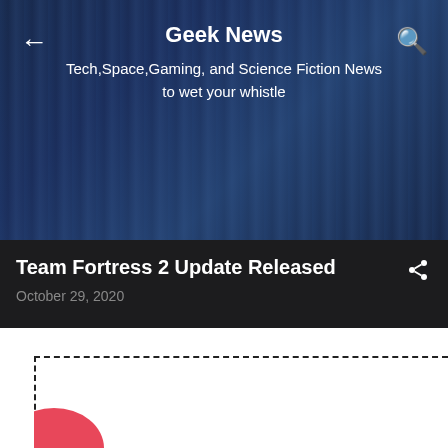Geek News
Tech,Space,Gaming, and Science Fiction News to wet your whistle
Team Fortress 2 Update Released
October 29, 2020
[Figure (screenshot): File not found error image with dashed border box, showing large bold text 'File not found' on white background with a partial pink shape at the bottom left corner]